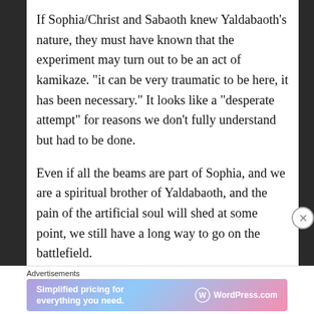If Sophia/Christ and Sabaoth knew Yaldabaoth's nature, they must have known that the experiment may turn out to be an act of kamikaze. “it can be very traumatic to be here, it has been necessary.” It looks like a “desperate attempt” for reasons we don’t fully understand but had to be done.
Even if all the beams are part of Sophia, and we are a spiritual brother of Yaldabaoth, and the pain of the artificial soul will shed at some point, we still have a long way to go on the battlefield.
Advertisements
[Figure (other): WordPress.com advertisement banner: 'Simplified pricing for everything you need.' with WordPress.com logo on gradient pink-purple-blue background.]